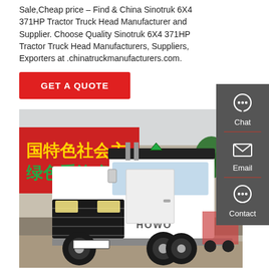Sale,Cheap price – Find & China Sinotruk 6X4 371HP Tractor Truck Head Manufacturer and Supplier. Choose Quality Sinotruk 6X4 371HP Tractor Truck Head Manufacturers, Suppliers, Exporters at .chinatruckmanufacturers.com.
GET A QUOTE
[Figure (photo): White HOWO Sinotruk 6x4 tractor truck head parked in front of a building with red banner showing Chinese characters '国特色社会主' and '绿色重汽 智']
Chat
Email
Contact